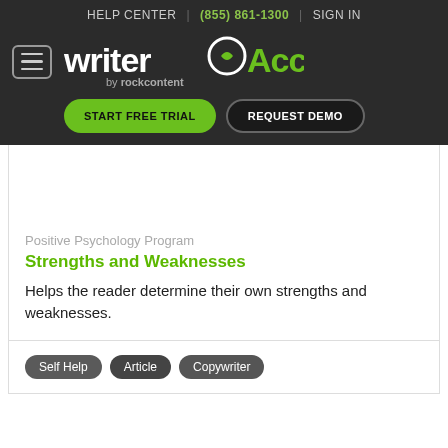HELP CENTER | (855) 861-1300 | SIGN IN
[Figure (logo): WriterAccess by rockcontent logo with hamburger menu, START FREE TRIAL and REQUEST DEMO buttons on dark background]
Positive Psychology Program
Strengths and Weaknesses
Helps the reader determine their own strengths and weaknesses.
Self Help
Article
Copywriter